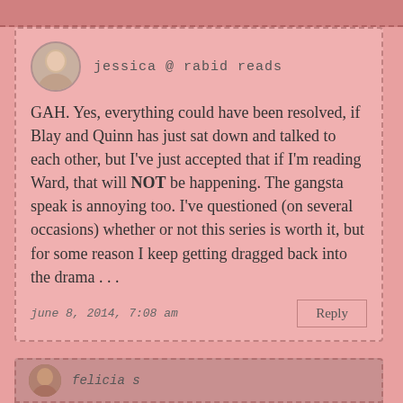jessica @ rabid reads
GAH. Yes, everything could have been resolved, if Blay and Quinn has just sat down and talked to each other, but I've just accepted that if I'm reading Ward, that will NOT be happening. The gangsta speak is annoying too. I've questioned (on several occasions) whether or not this series is worth it, but for some reason I keep getting dragged back into the drama . . .
june 8, 2014, 7:08 am
Reply
felicia s